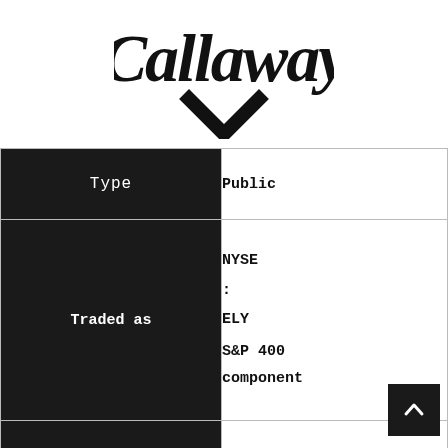[Figure (logo): Callaway Golf logo — stylized script lettering with a chevron/check mark below]
| Field | Value |
| --- | --- |
| Type | Public |
| Traded as | NYSE
:
ELY
S&P 400
component |
| ISIN | US1311931042 |